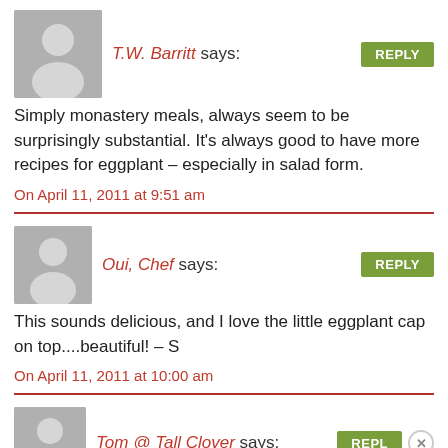T.W. Barritt says:
Simply monastery meals, always seem to be surprisingly substantial. It's always good to have more recipes for eggplant – especially in salad form.
On April 11, 2011 at 9:51 am
Oui, Chef says:
This sounds delicious, and I love the little eggplant cap on top....beautiful! – S
On April 11, 2011 at 10:00 am
Tom @ Tall Clover says: